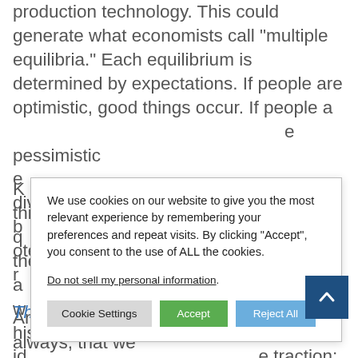production technology. This could generate what economists call “multiple equilibria.” Each equilibrium is determined by expectations. If people are optimistic, good things occur. If people a… e pessimistic e… ividual level, b… otentially a r…
We use cookies on our website to give you the most relevant experience by remembering your preferences and repeat visits. By clicking “Accept”, you consent to the use of ALL the cookies.
Do not sell my personal information.
Cookie Settings  Accept  Reject All
K… frame things in q… is what they a… has been w… nd I think his id… e traction; see
The Fear Factor.
Anyway, my basic point here is, as always, that we